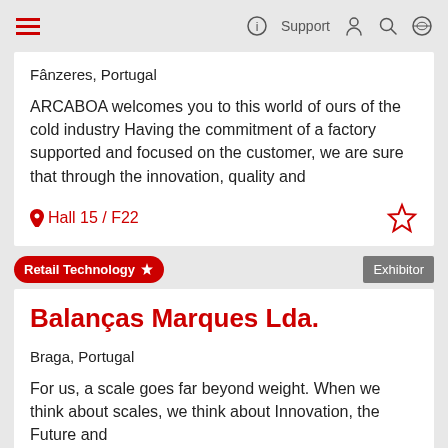Support
Fânzeres, Portugal
ARCABOA welcomes you to this world of ours of the cold industry Having the commitment of a factory supported and focused on the customer, we are sure that through the innovation, quality and
Hall 15 / F22
Retail Technology
Exhibitor
Balanças Marques Lda.
Braga, Portugal
For us, a scale goes far beyond weight. When we think about scales, we think about Innovation, the Future and